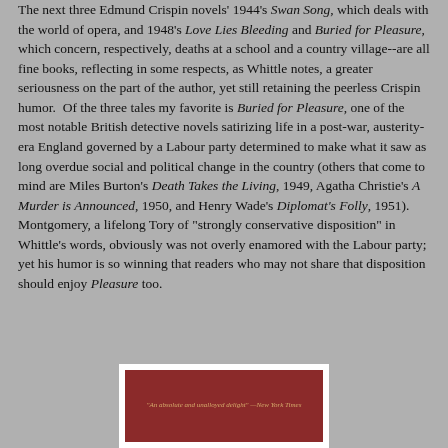The next three Edmund Crispin novels' 1944's Swan Song, which deals with the world of opera, and 1948's Love Lies Bleeding and Buried for Pleasure, which concern, respectively, deaths at a school and a country village--are all fine books, reflecting in some respects, as Whittle notes, a greater seriousness on the part of the author, yet still retaining the peerless Crispin humor.  Of the three tales my favorite is Buried for Pleasure, one of the most notable British detective novels satirizing life in a post-war, austerity-era England governed by a Labour party determined to make what it saw as long overdue social and political change in the country (others that come to mind are Miles Burton's Death Takes the Living, 1949, Agatha Christie's A Murder is Announced, 1950, and Henry Wade's Diplomat's Folly, 1951).  Montgomery, a lifelong Tory of "strongly conservative disposition" in Whittle's words, obviously was not overly enamored with the Labour party; yet his humor is so winning that readers who may not share that disposition should enjoy Pleasure too.
[Figure (photo): Book cover with dark red/maroon background and gold italic text reading: "An absolute and unalloyed delight" —New York Times]